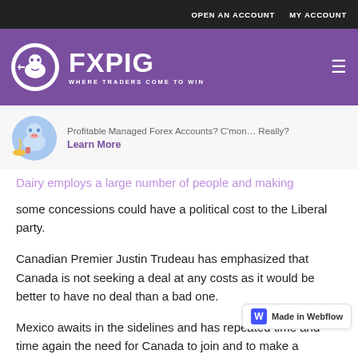OPEN AN ACCOUNT   MY ACCOUNT
[Figure (logo): FXPIG logo - purple header bar with circular white logo and text 'FXPIG WHERE TRADERS COME TO WIN']
Profitable Managed Forex Accounts? C'mon… Really?
Learn More
Dairy employs a large number of people and making some concessions could have a political cost to the Liberal party.
Canadian Premier Justin Trudeau has emphasized that Canada is not seeking a deal at any costs as it would be better to have no deal than a bad one.
Mexico awaits in the sidelines and has repeated time and time again the need for Canada to join and to make a trilateral agreement. The US preferred th agreement and moved into a high gear as the